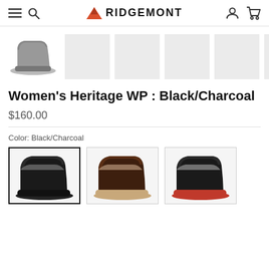RIDGEMONT
[Figure (photo): Thumbnail strip showing a grey hiking boot silhouette as main selected thumbnail, followed by 6 grey placeholder rectangles]
Women's Heritage WP : Black/Charcoal
$160.00
Color: Black/Charcoal
[Figure (photo): Three color swatch product images: first (selected, black border) shows a black/charcoal hiking boot, second shows a dark brown hiking boot with tan sole, third shows a black/orange hiking boot]
Color swatches for Women's Heritage WP